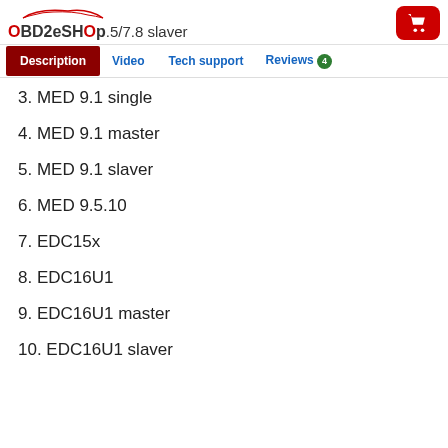OBD2eShOp .5/7.8 slaver
3. MED 9.1 single
4. MED 9.1 master
5. MED 9.1 slaver
6. MED 9.5.10
7. EDC15x
8. EDC16U1
9. EDC16U1 master
10. EDC16U1 slaver